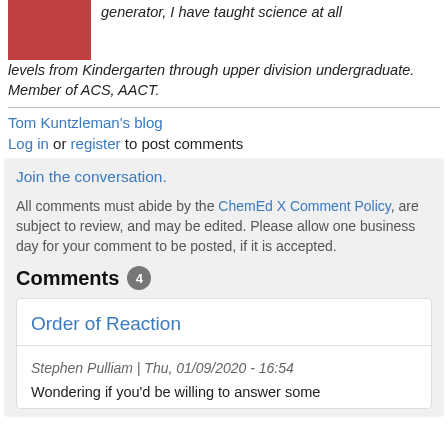[Figure (photo): Profile photo of a person wearing red, cropped at top]
generator, I have taught science at all levels from Kindergarten through upper division undergraduate. Member of ACS, AACT.
Tom Kuntzleman's blog
Log in or register to post comments
Join the conversation.
All comments must abide by the ChemEd X Comment Policy, are subject to review, and may be edited. Please allow one business day for your comment to be posted, if it is accepted.
Comments 4
Order of Reaction
Stephen Pulliam | Thu, 01/09/2020 - 16:54
Wondering if you'd be willing to answer some